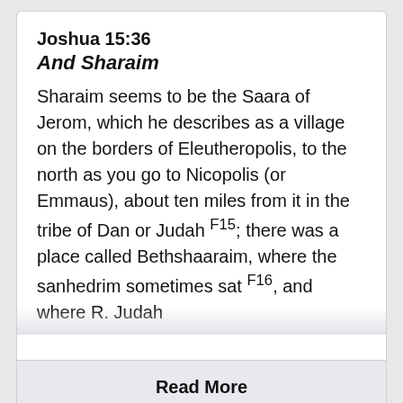Joshua 15:36
And Sharaim
Sharaim seems to be the Saara of Jerom, which he describes as a village on the borders of Eleutheropolis, to the north as you go to Nicopolis (or Emmaus), about ten miles from it in the tribe of Dan or Judah F15; there was a place called Bethshaaraim, where the sanhedrim sometimes sat F16, and where R. Judah
Read More
Taken from John Gill's Exposition of the Bible
Joshua 15:36 In-Context